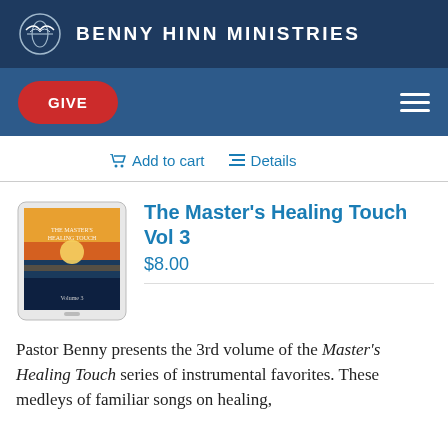BENNY HINN MINISTRIES
GIVE
Add to cart   Details
[Figure (photo): Product image of The Master's Healing Touch Vol 3 shown on a tablet device with a sunset/ocean background cover]
The Master's Healing Touch Vol 3
$8.00
Pastor Benny presents the 3rd volume of the Master's Healing Touch series of instrumental favorites. These medleys of familiar songs on healing,